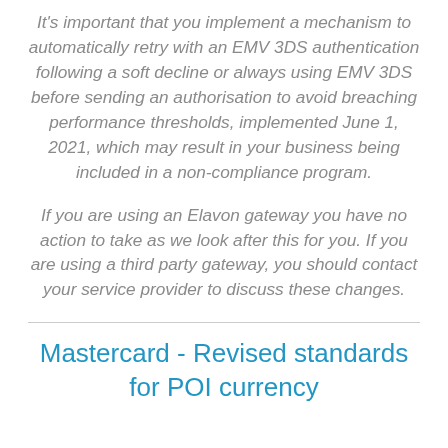It's important that you implement a mechanism to automatically retry with an EMV 3DS authentication following a soft decline or always using EMV 3DS before sending an authorisation to avoid breaching performance thresholds, implemented June 1, 2021, which may result in your business being included in a non-compliance program.
If you are using an Elavon gateway you have no action to take as we look after this for you. If you are using a third party gateway, you should contact your service provider to discuss these changes.
Mastercard - Revised standards for POI currency